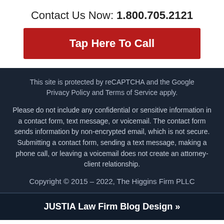Contact Us Now: 1.800.705.2121
Tap Here To Call
This site is protected by reCAPTCHA and the Google Privacy Policy and Terms of Service apply.
Please do not include any confidential or sensitive information in a contact form, text message, or voicemail. The contact form sends information by non-encrypted email, which is not secure. Submitting a contact form, sending a text message, making a phone call, or leaving a voicemail does not create an attorney-client relationship.
Copyright © 2015 – 2022, The Higgins Firm PLLC
JUSTIA Law Firm Blog Design »